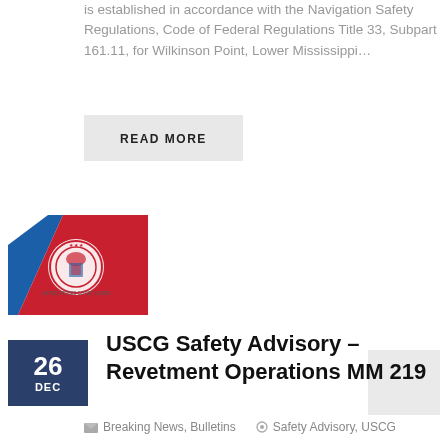is established in accordance with the Navigation Safety Regulations, Code of Federal Regulations Title 33, Subpart 161.11, for Wilkinson Point, Lower Mississippi…
READ MORE
[Figure (logo): US Coast Guard logo — diagonal red and blue stripes with the USCG emblem in white on red background]
USCG Safety Advisory – Revetment Operations MM 219
26 DEC
Breaking News, Bulletins   Safety Advisory, USCG